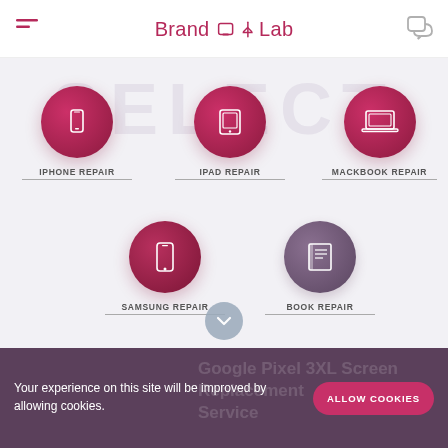BrandLab
[Figure (infographic): Service selection screen with 5 circular icon buttons: iPhone Repair, iPad Repair, MacBook Repair, Samsung Repair, Book Repair. Background watermark text reads SELECT.]
IPHONE REPAIR
IPAD REPAIR
MACKBOOK REPAIR
SAMSUNG REPAIR
BOOK REPAIR
Your experience on this site will be improved by allowing cookies.
ALLOW COOKIES